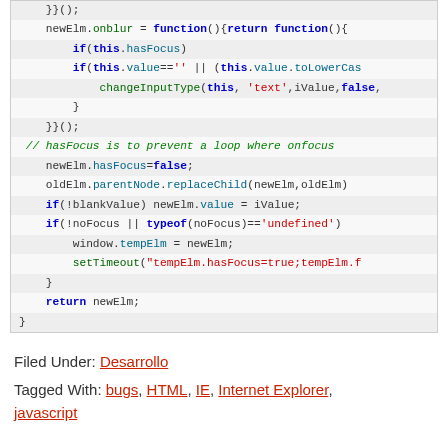[Figure (screenshot): Code block showing JavaScript source code with syntax highlighting]
Filed Under: Desarrollo
Tagged With: bugs, HTML, IE, Internet Explorer, javascript